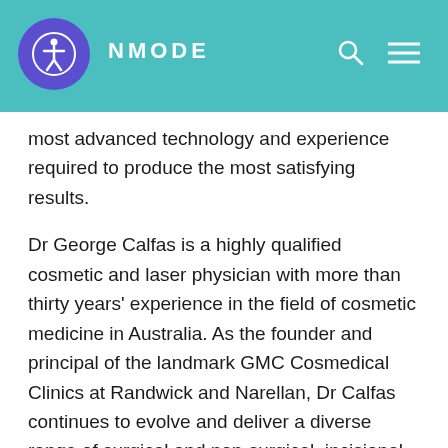INMODE
most advanced technology and experience required to produce the most satisfying results.
Dr George Calfas is a highly qualified cosmetic and laser physician with more than thirty years' experience in the field of cosmetic medicine in Australia. As the founder and principal of the landmark GMC Cosmedical Clinics at Randwick and Narellan, Dr Calfas continues to evolve and deliver a diverse range of surgical and non-surgical, incisional and non-incisional face, neck and body procedures.
Interested in booking a consultation? Learn